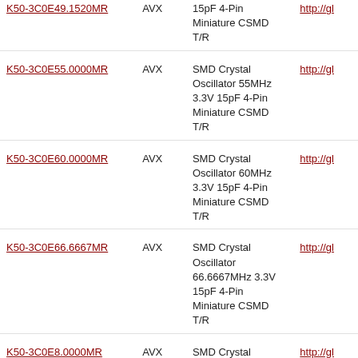| Part Number | Manufacturer | Description | Link |
| --- | --- | --- | --- |
| K50-3C0E49.1520MR | AVX | 15pF 4-Pin Miniature CSMD T/R | http://gl |
| K50-3C0E55.0000MR | AVX | SMD Crystal Oscillator 55MHz 3.3V 15pF 4-Pin Miniature CSMD T/R | http://gl |
| K50-3C0E60.0000MR | AVX | SMD Crystal Oscillator 60MHz 3.3V 15pF 4-Pin Miniature CSMD T/R | http://gl |
| K50-3C0E66.6667MR | AVX | SMD Crystal Oscillator 66.6667MHz 3.3V 15pF 4-Pin Miniature CSMD T/R | http://gl |
| K50-3C0E8.0000MR | AVX | SMD Crystal Oscillator 8MHz 3.3V 15pF 4-Pin Miniature CSMD T/R | http://gl |
| K50-3C0SE16.3840MR | AVX | SMD Crystal Oscillator 16.384MHz 3.3V 15pF 4-Pin Miniature CSMD T/R | http://gl |